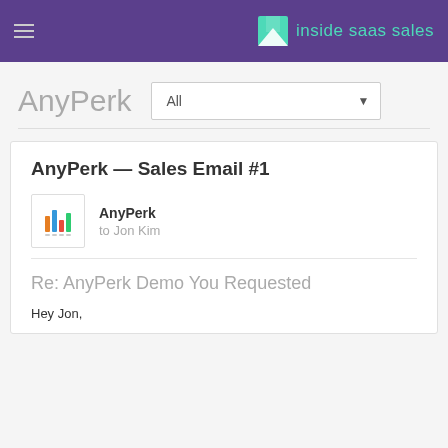inside saas sales
AnyPerk
AnyPerk — Sales Email #1
AnyPerk
to Jon Kim
Re: AnyPerk Demo You Requested
Hey Jon,